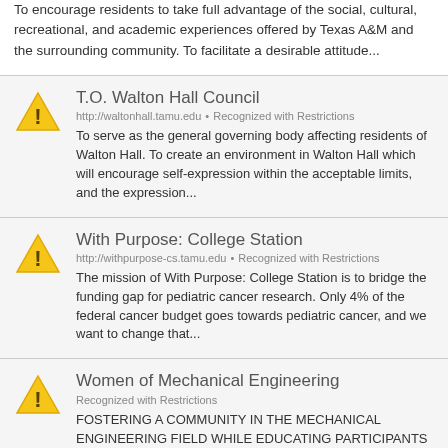To encourage residents to take full advantage of the social, cultural, recreational, and academic experiences offered by Texas A&M and the surrounding community. To facilitate a desirable attitude...
T.O. Walton Hall Council
http://waltonhall.tamu.edu • Recognized with Restrictions
To serve as the general governing body affecting residents of Walton Hall. To create an environment in Walton Hall which will encourage self-expression within the acceptable limits, and the expression...
With Purpose: College Station
http://withpurpose-cs.tamu.edu • Recognized with Restrictions
The mission of With Purpose: College Station is to bridge the funding gap for pediatric cancer research. Only 4% of the federal cancer budget goes towards pediatric cancer, and we want to change that...
Women of Mechanical Engineering
Recognized with Restrictions
FOSTERING A COMMUNITY IN THE MECHANICAL ENGINEERING FIELD WHILE EDUCATING PARTICIPANTS OF THE BENEFITS OF SUCH DEGREE.